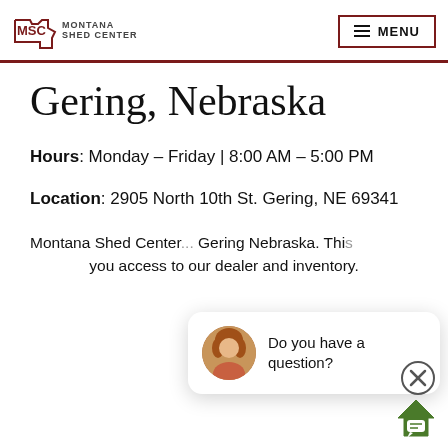MSC MONTANA SHED CENTER | MENU
Gering, Nebraska
Hours: Monday – Friday | 8:00 AM – 5:00 PM
Location: 2905 North 10th St. Gering, NE 69341
Montana Shed Center ... Gering Nebraska. This ... you access to our dealer and inventory.
[Figure (screenshot): Chat popup with photo of woman and text 'Do you have a question?', plus close button (X circle) and home/chat icon button]